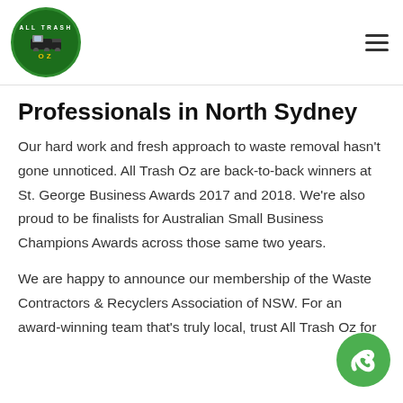All Trash Oz logo and navigation menu
Professionals in North Sydney
Our hard work and fresh approach to waste removal hasn't gone unnoticed. All Trash Oz are back-to-back winners at St. George Business Awards 2017 and 2018. We're also proud to be finalists for Australian Small Business Champions Awards across those same two years.
We are happy to announce our membership of the Waste Contractors & Recyclers Association of NSW. For an award-winning team that's truly local, trust All Trash Oz for
[Figure (logo): Green circular phone call button icon in bottom right corner]